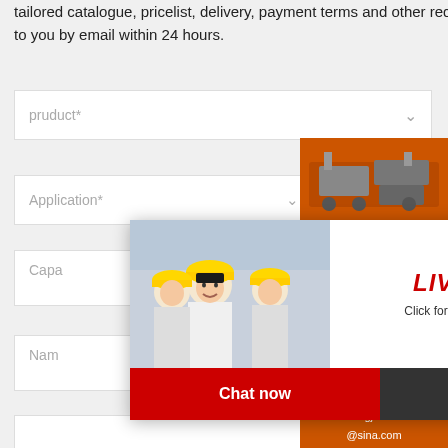tailored catalogue, pricelist, delivery, payment terms and other required details to you by email within 24 hours.
[Figure (screenshot): Web form with dropdown fields for pruduct, Application, Capacity, Name, E-mail, Country, with a live chat popup overlay showing workers in hard hats and Chat now/Chat later buttons, and an orange sidebar with machinery images, discount offer, Enquiry section, and email contact limingjlmofen@sina.com]